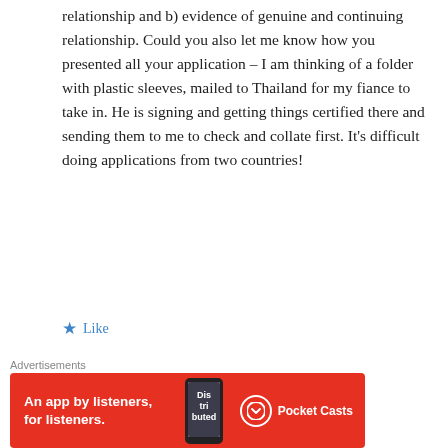relationship and b) evidence of genuine and continuing relationship. Could you also let me know how you presented all your application – I am thinking of a folder with plastic sleeves, mailed to Thailand for my fiance to take in. He is signing and getting things certified there and sending them to me to check and collate first. It's difficult doing applications from two countries!
Like
Reply
Team Oyeniyi on February 17, 2013 at 8:49
[Figure (other): Advertisement banner for Pocket Casts app: 'An app by listeners, for listeners.' on red background with phone graphic]